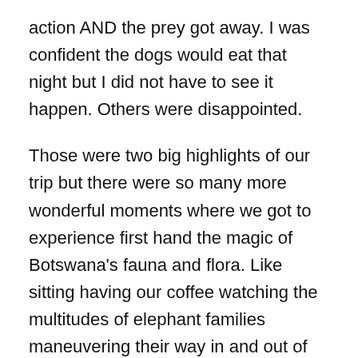action AND the prey got away. I was confident the dogs would eat that night but I did not have to see it happen. Others were disappointed.
Those were two big highlights of our trip but there were so many more wonderful moments where we got to experience first hand the magic of Botswana's fauna and flora. Like sitting having our coffee watching the multitudes of elephant families maneuvering their way in and out of the watering holes at Chobi National Park. Amazing,
We would finally arrive at camp at the end of the day as darkness fell, and in Africa, it drops like a stone!